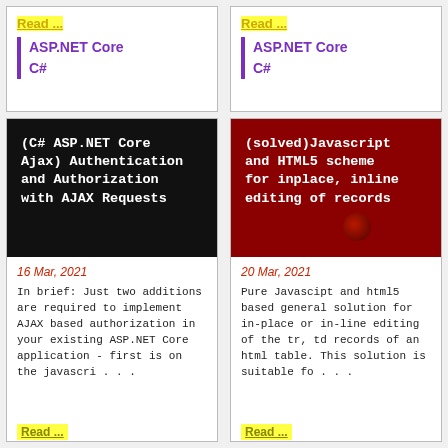Read ...
ASP.NET Core
C#
Read ...
ASP.NET Core
C#
[Figure (photo): Black background card image for C# ASP.NET Core Ajax Authentication and Authorization with AJAX Requests]
(C# ASP.NET Core Ajax) Authentication and Authorization with AJAX Requests
[Figure (photo): Dark red background card image for solved Javascript and HTML5 scheme for inplace, inline editing of records]
(solved)Javascript and HTML5 scheme for inplace, inline editing of records
16 Mar, 2021
In brief: Just two additions are required to implement AJAX based authorization in your existing ASP.NET Core application - first is on the javascri . . .
20 Mar, 2021
Pure Javascipt and html5 based general solution for in-place or in-line editing of the tr, td records of an html table. This solution is suitable fo . . .
Read ...
Read ...